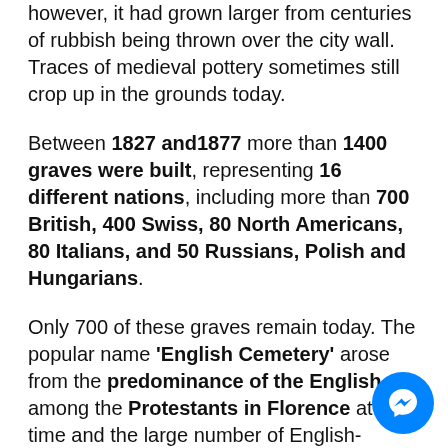however, it had grown larger from centuries of rubbish being thrown over the city wall. Traces of medieval pottery sometimes still crop up in the grounds today.
Between 1827 and1877 more than 1400 graves were built, representing 16 different nations, including more than 700 British, 400 Swiss, 80 North Americans, 80 Italians, and 50 Russians, Polish and Hungarians.
Only 700 of these graves remain today. The popular name 'English Cemetery' arose from the predominance of the English among the Protestants in Florence at the time and the large number of English-speaking people buried here.
[Figure (illustration): Facebook Messenger chat bubble icon — blue circle with white lightning bolt / messenger logo]